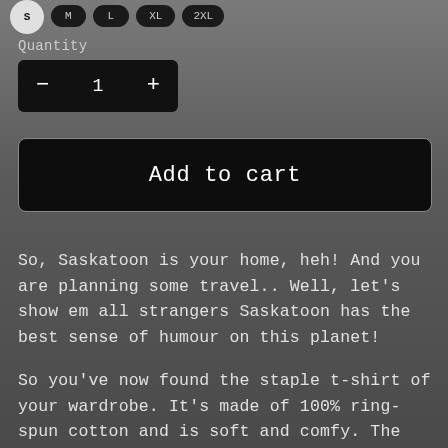[Figure (screenshot): Size selector buttons row at top: white circle button (selected), M, L, XL, 2XL dark rounded buttons]
Quantity
[Figure (other): Quantity stepper control showing minus button, number 1, plus button on dark background]
[Figure (other): Add to cart button, dark background with border]
So, Saskatoon is your home, heh! And you are planning some travel.. Well, let's show em all strangers Saskatoon has the best sense of humour on this planet!
So you've now found the staple t-shirt of your wardrobe. It's made of 100% ring-spun cotton and is soft and comfy. The double stitching on